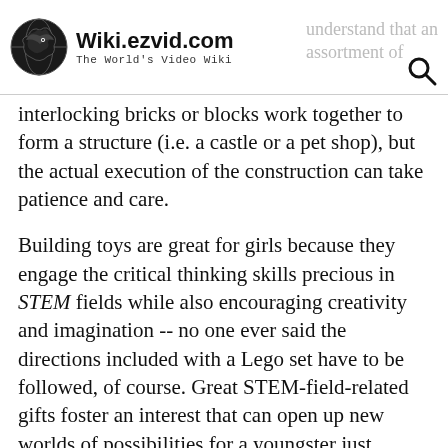Wiki.ezvid.com The World's Video Wiki | understand that an assortment of
interlocking bricks or blocks work together to form a structure (i.e. a castle or a pet shop), but the actual execution of the construction can take patience and care.
Building toys are great for girls because they engage the critical thinking skills precious in STEM fields while also encouraging creativity and imagination -- no one ever said the directions included with a Lego set have to be followed, of course. Great STEM-field-related gifts foster an interest that can open up new worlds of possibilities for a youngster just beginning to envision a future professional career path.
Every 8-year-old girl also simply needs to have fun